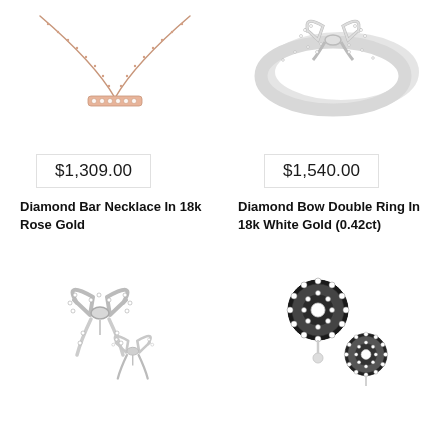[Figure (photo): Diamond bar necklace in rose gold on white background]
$1,309.00
Diamond Bar Necklace In 18k Rose Gold
[Figure (photo): Diamond bow double ring in white gold on white background]
$1,540.00
Diamond Bow Double Ring In 18k White Gold (0.42ct)
[Figure (photo): Diamond bow stud earrings in silver/white gold on white background]
[Figure (photo): Diamond halo cluster stud earrings in white gold on white background]